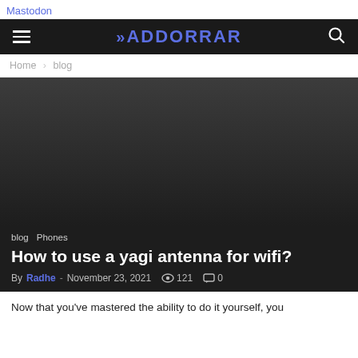Mastodon
ADDORRAR
Home › blog
[Figure (photo): Dark hero image area, gradient from dark gray to near-black]
blog   Phones
How to use a yagi antenna for wifi?
By Radhe - November 23, 2021  👁 121  💬 0
Now that you've mastered the ability to do it yourself, you